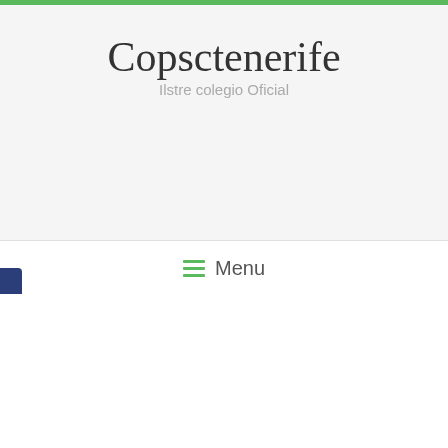Copsctenerife
Ilstre colegio Oficial
≡ Menu
modern retractable awning
Benefits Of Using Outdoor Patio Awnings